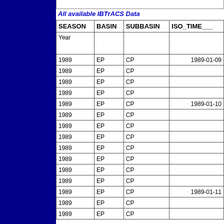All available IBTrACS Data
| SEASON | BASIN | SUBBASIN | ISO_TIME___ |
| --- | --- | --- | --- |
| Year |  |  |  |
| 1989 | EP | CP | 1989-01-09 |
| 1989 | EP | CP |  |
| 1989 | EP | CP |  |
| 1989 | EP | CP |  |
| 1989 | EP | CP | 1989-01-10 |
| 1989 | EP | CP |  |
| 1989 | EP | CP |  |
| 1989 | EP | CP |  |
| 1989 | EP | CP |  |
| 1989 | EP | CP |  |
| 1989 | EP | CP |  |
| 1989 | EP | CP |  |
| 1989 | EP | CP | 1989-01-11 |
| 1989 | EP | CP |  |
| 1989 | EP | CP |  |